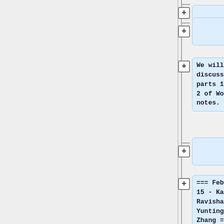[Figure (screenshot): A tree/outline UI showing collapsible nodes with + buttons. The right side shows several collapsed and expanded nodes. Top node is partially visible (collapsed). Second node is collapsed (empty). Third node contains text 'We will discuss parts 1 and 2 of Wong’s notes.' Fourth node is collapsed. Fifth node contains '=== February 15 - Karthik Ravishankar, Yunting Zhang ==='. Sixth node is collapsed. Seventh node contains 'Title: Collection axioms/The Weak König' (partially visible).]